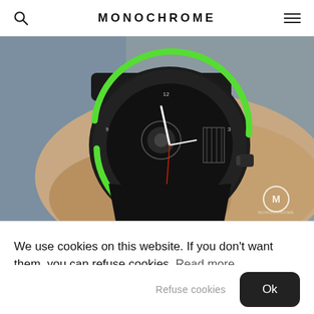MONOCHROME
[Figure (photo): Close-up photo of a luxury skeleton watch with green accent ring on a wrist, black case and strap, visible movement, Monochrome watermark in bottom right]
We use cookies on this website. If you don't want them, you can refuse cookies. Read more
Refuse cookies
Ok